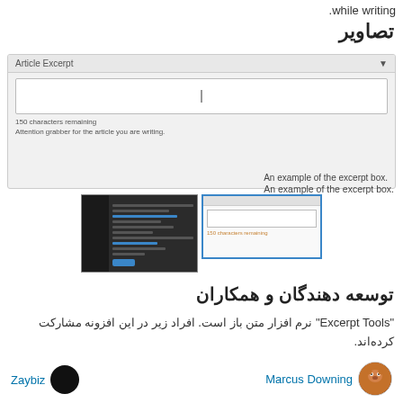.while writing
تصاویر
[Figure (screenshot): Screenshot of WordPress Article Excerpt meta box showing a text field with '150 characters remaining' and 'Attention grabber for the article you are writing.' helper text]
An example of the excerpt box.
[Figure (screenshot): Two thumbnail screenshots side by side: a dark WordPress admin screen and a lighter screen showing the excerpt box highlighted in blue]
توسعه دهندگان و همکاران
"Excerpt Tools" نرم افزار متن باز است. افراد زیر در این افزونه مشارکت کرده‌اند.
Marcus Downing
Zaybiz